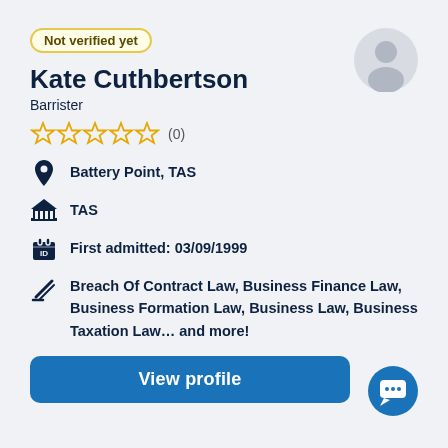Not verified yet
Kate Cuthbertson
Barrister
☆☆☆☆☆ (0)
Battery Point, TAS
TAS
First admitted: 03/09/1999
Breach Of Contract Law, Business Finance Law, Business Formation Law, Business Law, Business Taxation Law... and more!
View profile